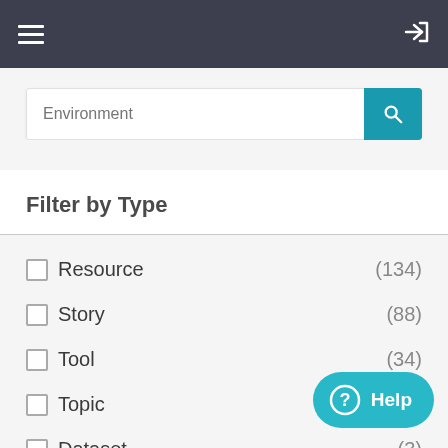[Figure (screenshot): Navigation bar with hamburger menu icon on the left and login arrow icon on the right, dark background #3d3f4e]
[Figure (screenshot): Search bar with placeholder text 'Environment' and teal search button with magnifying glass icon]
Filter by Type
Resource (134)
Story (88)
Tool (34)
Topic
Dataset (3)
[Figure (screenshot): Teal Help chat button in the bottom right corner]